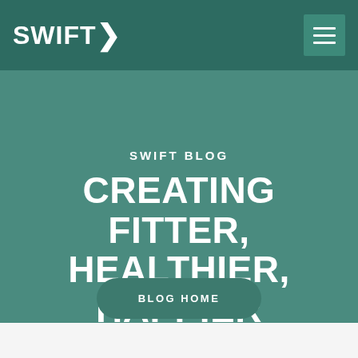SWIFT
SWIFT BLOG
CREATING FITTER, HEALTHIER, HAPPIER WORKPLACES.
BLOG HOME